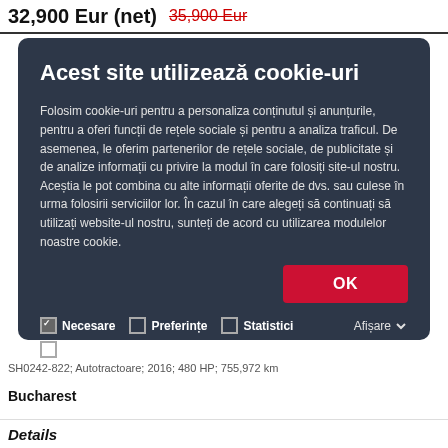32,900 Eur (net)  35,900 Eur
Acest site utilizează cookie-uri
Folosim cookie-uri pentru a personaliza conținutul și anunțurile, pentru a oferi funcții de rețele sociale și pentru a analiza traficul. De asemenea, le oferim partenerilor de rețele sociale, de publicitate și de analize informații cu privire la modul în care folosiți site-ul nostru. Aceștia le pot combina cu alte informații oferite de dvs. sau culese în urma folosirii serviciilor lor. În cazul în care alegeți să continuați să utilizați website-ul nostru, sunteți de acord cu utilizarea modulelor noastre cookie.
OK
Necesare  Preferințe  Statistici  Afișare  Marketing
SH0242-822; Autotractoare; 2016; 480 HP; 755,972 km
Bucharest
Details